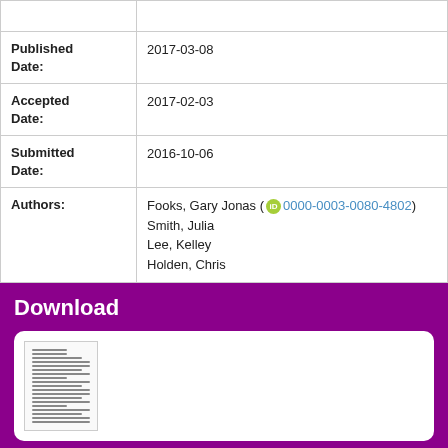| Field | Value |
| --- | --- |
| Published Date: | 2017-03-08 |
| Accepted Date: | 2017-02-03 |
| Submitted Date: | 2016-10-06 |
| Authors: | Fooks, Gary Jonas (0000-0003-0080-4802)
Smith, Julia
Lee, Kelley
Holden, Chris |
Download
[Figure (other): Document thumbnail preview showing a paper/article page]